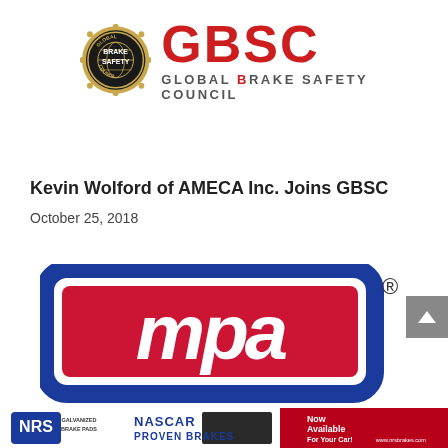[Figure (logo): GBSC Global Brake Safety Council logo with badge/seal on left and red GBSC text with subtitle on right]
Kevin Wolford of AMECA Inc. Joins GBSC
October 25, 2018
[Figure (logo): MPA logo - large blue-outlined rounded rectangle with red italic mpa text inside, with registered trademark symbol]
[Figure (logo): NRS Galvanized Brake Pads logo with NASCAR Proven Brakes text and Now Available For Your Car ad with www.nrsbrakes.com]